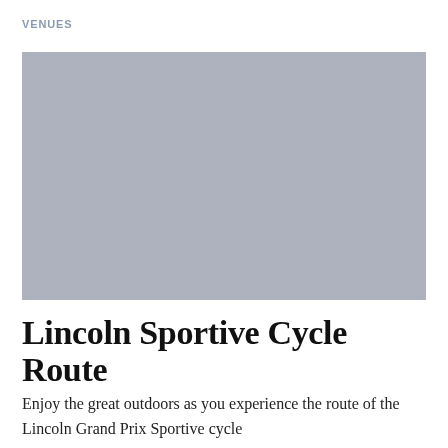VENUES
[Figure (photo): A large placeholder/grey image block for the Lincoln Sportive Cycle Route venue photo]
Lincoln Sportive Cycle Route
Enjoy the great outdoors as you experience the route of the Lincoln Grand Prix Sportive cycle